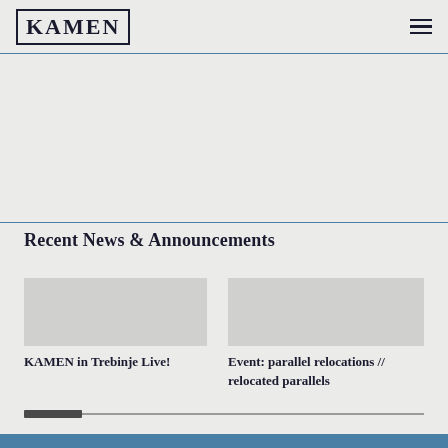KAMEN
[Figure (other): Hero/banner image area - large light grey rectangular placeholder]
Recent News & Announcements
[Figure (photo): News card image placeholder - grey rectangle for KAMEN in Trebinje Live!]
KAMEN in Trebinje Live!
[Figure (photo): News card image placeholder - grey rectangle for Event: parallel relocations // relocated parallels]
Event: parallel relocations // relocated parallels